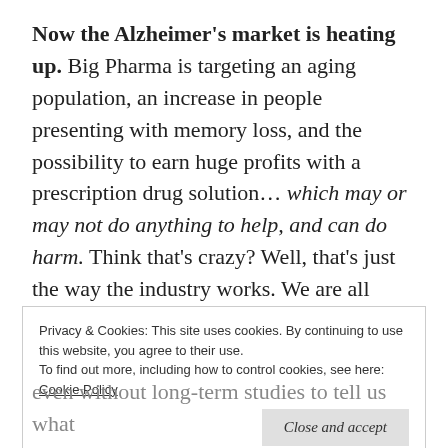Now the Alzheimer's market is heating up. Big Pharma is targeting an aging population, an increase in people presenting with memory loss, and the possibility to earn huge profits with a prescription drug solution... which may or may not do anything to help, and can do harm. Think that's crazy? Well, that's just the way the industry works. We are all human guinea pigs for prescription drugs, even though they have to pass rigorous clinical testing and are strictly regulated.
Privacy & Cookies: This site uses cookies. By continuing to use this website, you agree to their use.
To find out more, including how to control cookies, see here: Cookie Policy
even without long-term studies to tell us what